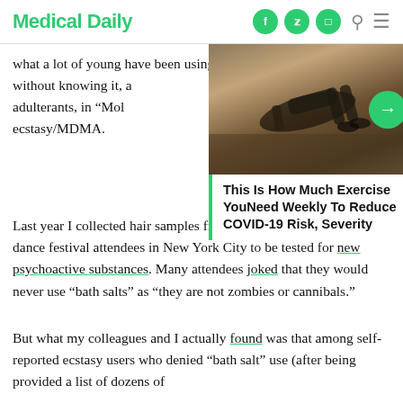Medical Daily
what a lot of young have been using Fla without knowing it, a adulterants, in “Mol ecstasy/MDMA.
[Figure (screenshot): Photo of person doing exercise (plank/push-up position outdoors) with overlaid article card titled 'This Is How Much Exercise YouNeed Weekly To Reduce COVID-19 Risk, Severity']
Last year I collected hair samples from dozens of nightclub and dance festival attendees in New York City to be tested for new psychoactive substances. Many attendees joked that they would never use “bath salts” as “they are not zombies or cannibals.”
But what my colleagues and I actually found was that among self-reported ecstasy users who denied “bath salt” use (after being provided a list of dozens of